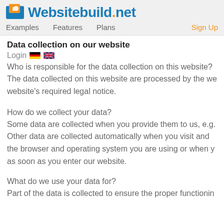Websitebuild.net — Examples | Features | Plans | Sign Up
Data collection on our website
Login
Who is responsible for the data collection on this website?
The data collected on this website are processed by the website's required legal notice.
How do we collect your data?
Some data are collected when you provide them to us, e.g.
Other data are collected automatically when you visit and the browser and operating system you are using or when you as soon as you enter our website.
What do we use your data for?
Part of the data is collected to ensure the proper functioning the site.